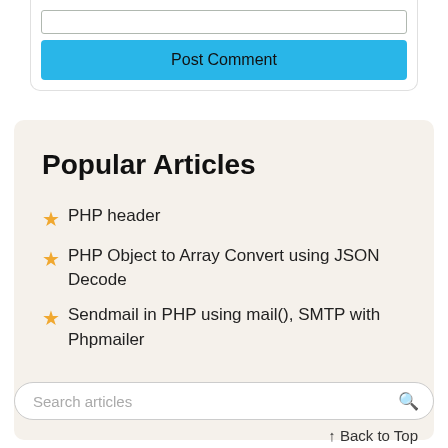[Figure (screenshot): Text input box at the top of the page inside a card]
Post Comment
Popular Articles
PHP header
PHP Object to Array Convert using JSON Decode
Sendmail in PHP using mail(), SMTP with Phpmailer
Search articles
↑ Back to Top